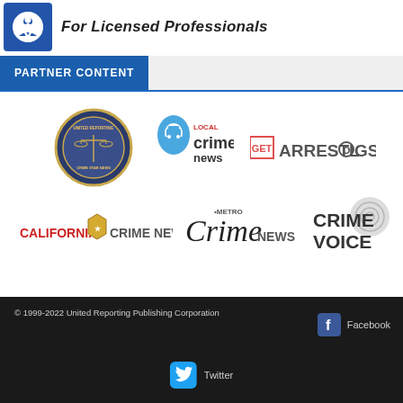For Licensed Professionals
PARTNER CONTENT
[Figure (logo): United Reporting Crime Star News circular seal logo]
[Figure (logo): Local Crime News logo with map pin icon]
[Figure (logo): GetArrestLogs logo]
[Figure (logo): California Crime News logo]
[Figure (logo): Metro Crime News logo]
[Figure (logo): Crime Voice logo with fingerprint]
© 1999-2022 United Reporting Publishing Corporation  Facebook  Twitter